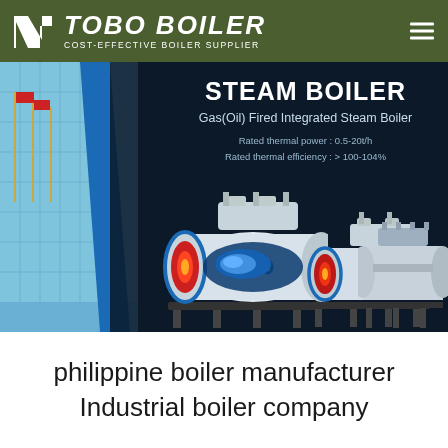TOBO BOILER - COST-EFFECTIVE BOILER SUPPLIER
[Figure (photo): Steam boiler product banner showing Gas(Oil) Fired Integrated Steam Boiler with building background and three boiler units. Text: STEAM BOILER, Gas(Oil) Fired Integrated Steam Boiler, Rated thermal power: 0.5-20t/h, Rated thermal efficiency: > 100-104%]
philippine boiler manufacturer Industrial boiler company